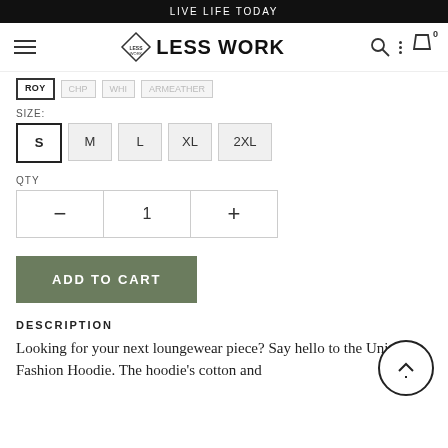LIVE LIFE TODAY
[Figure (logo): Less Work brand logo with diamond icon and hamburger menu, search and cart icons]
ROY CHP WHI ARMEATHER
SIZE:
S  M  L  XL  2XL
QTY
— 1 +
ADD TO CART
DESCRIPTION
Looking for your next loungewear piece? Say hello to the Unisex Fashion Hoodie. The hoodie's cotton and